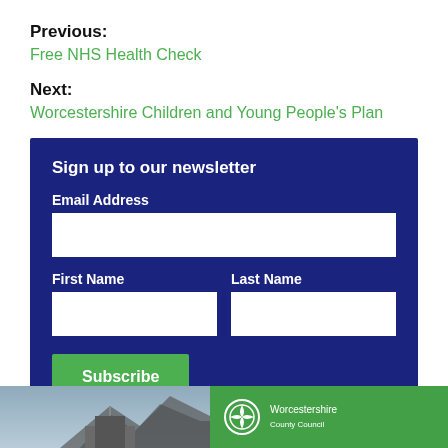Previous:
Free NHS Health Check
Next:
Worcestershire Children and Young People's Plan
Sign up to our newsletter
Email Address
First Name
Last Name
Subscribe
[Figure (photo): Aerial or rooftop photograph with cloudy sky, partial building roof visible.]
[Figure (logo): Worcestershire county council logo on green background with white circular emblem and white text.]